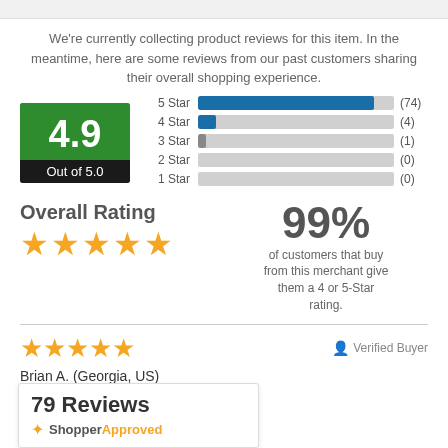We're currently collecting product reviews for this item. In the meantime, here are some reviews from our past customers sharing their overall shopping experience.
[Figure (bar-chart): Star Rating Distribution]
Overall Rating
99% of customers that buy from this merchant give them a 4 or 5-Star rating.
★★★★★ Verified Buyer
Brian A. (Georgia, US)
didn't double order. I went back trying
79 Reviews
[Figure (logo): ShopperApproved logo with star icon]